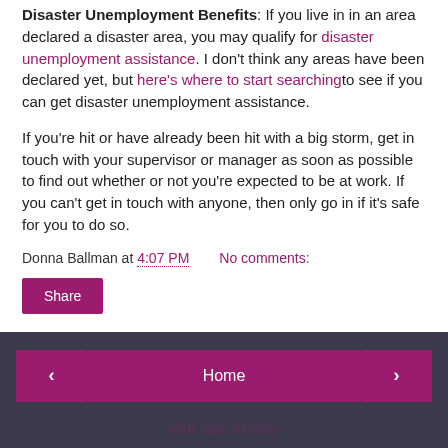Disaster Unemployment Benefits: If you live in in an area declared a disaster area, you may qualify for disaster unemployment assistance. I don't think any areas have been declared yet, but here's where to start searching to see if you can get disaster unemployment assistance.
If you're hit or have already been hit with a big storm, get in touch with your supervisor or manager as soon as possible to find out whether or not you're expected to be at work. If you can't get in touch with anyone, then only go in if it's safe for you to do so.
Donna Ballman at 4:07 PM    No comments:
Share
Home | Powered by Blogger.